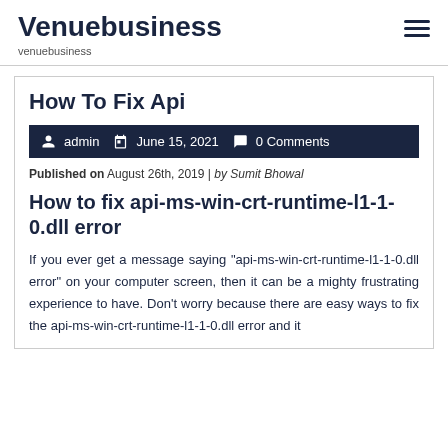Venuebusiness
venuebusiness
How To Fix Api
admin  June 15, 2021  0 Comments
Published on August 26th, 2019 | by Sumit Bhowal
How to fix api-ms-win-crt-runtime-l1-1-0.dll error
If you ever get a message saying "api-ms-win-crt-runtime-l1-1-0.dll error" on your computer screen, then it can be a mighty frustrating experience to have. Don't worry because there are easy ways to fix the api-ms-win-crt-runtime-l1-1-0.dll error and it